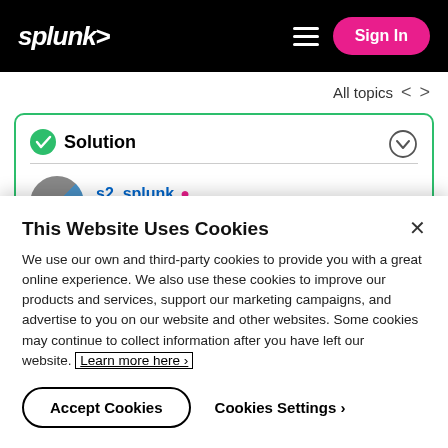[Figure (screenshot): Splunk website header with logo, hamburger menu, and Sign In button on black background]
All topics < >
Solution
s2_splunk  Splunk Employee  05-04-2021 04:43 PM
This Website Uses Cookies
We use our own and third-party cookies to provide you with a great online experience. We also use these cookies to improve our products and services, support our marketing campaigns, and advertise to you on our website and other websites. Some cookies may continue to collect information after you have left our website. Learn more here ›
Accept Cookies
Cookies Settings ›